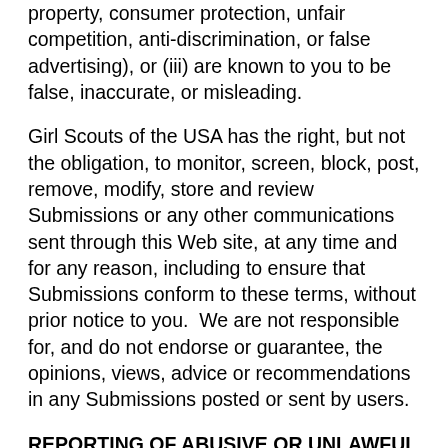property, consumer protection, unfair competition, anti-discrimination, or false advertising), or (iii) are known to you to be false, inaccurate, or misleading.
Girl Scouts of the USA has the right, but not the obligation, to monitor, screen, block, post, remove, modify, store and review Submissions or any other communications sent through this Web site, at any time and for any reason, including to ensure that Submissions conform to these terms, without prior notice to you.  We are not responsible for, and do not endorse or guarantee, the opinions, views, advice or recommendations in any Submissions posted or sent by users.
REPORTING OF ABUSIVE OR UNLAWFUL SUBMISSIONS OR CONTENT
If you have knowledge of abusive, infringing or otherwise unlawful Submissions or other content on